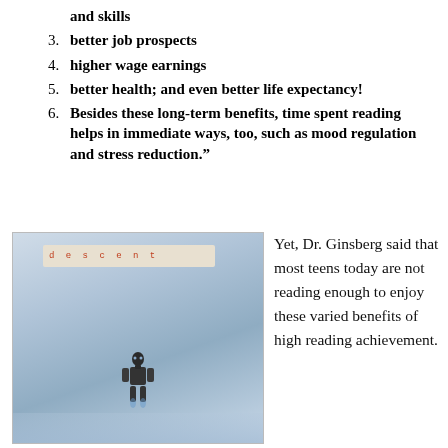and skills
3. better job prospects
4. higher wage earnings
5. better health; and even better life expectancy!
6. Besides these long-term benefits, time spent reading helps in immediate ways, too, such as mood regulation and stress reduction.”
[Figure (photo): Photo of a book cover with the word 'DESCENT' visible in red letters at top, and a robot/humanoid figure floating above a misty surface at the bottom.]
Yet, Dr. Ginsberg said that most teens today are not reading enough to enjoy these varied benefits of high reading achievement.